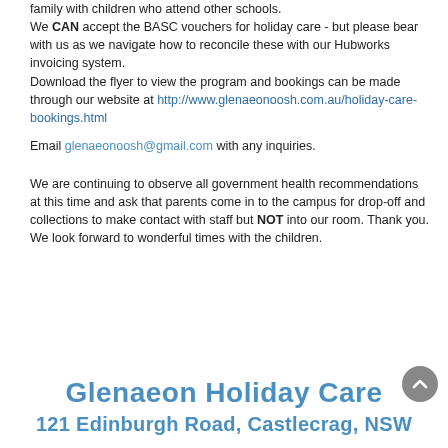family with children who attend other schools.
We CAN accept the BASC vouchers for holiday care - but please bear with us as we navigate how to reconcile these with our Hubworks invoicing system.
Download the flyer to view the program and bookings can be made through our website at http://www.glenaeonoosh.com.au/holiday-care-bookings.html

Email glenaeonoosh@gmail.com with any inquiries.

We are continuing to observe all government health recommendations at this time and ask that parents come in to the campus for drop-off and collections to make contact with staff but NOT into our room. Thank you. We look forward to wonderful times with the children.
Glenaeon Holiday Care
121 Edinburgh Road, Castlecrag, NSW